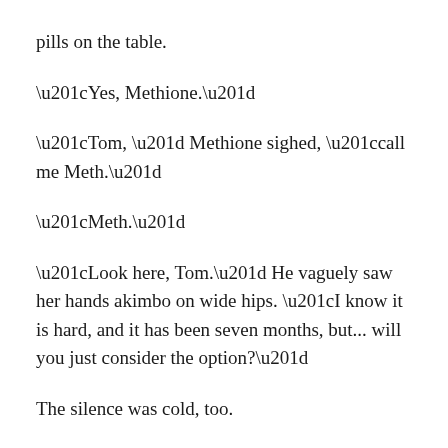pills on the table.
“Yes, Methione.”
“Tom, ” Methione sighed, “call me Meth.”
“Meth.”
“Look here, Tom.” He vaguely saw her hands akimbo on wide hips. “I know it is hard, and it has been seven months, but... will you just consider the option?”
The silence was cold, too.
Meth signed and took the tray. She stole one last look at the drooped shoulder by the bed. The tattooed eagles are